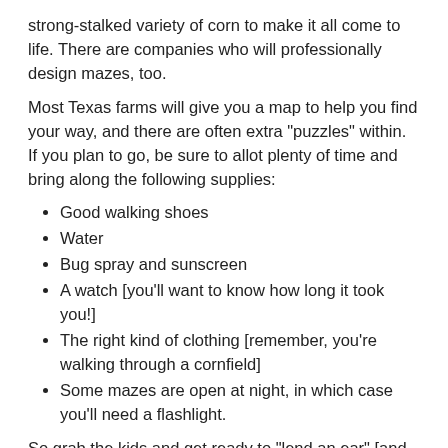strong-stalked variety of corn to make it all come to life. There are companies who will professionally design mazes, too.
Most Texas farms will give you a map to help you find your way, and there are often extra "puzzles" within. If you plan to go, be sure to allot plenty of time and bring along the following supplies:
Good walking shoes
Water
Bug spray and sunscreen
A watch [you'll want to know how long it took you!]
The right kind of clothing [remember, you're walking through a cornfield]
Some mazes are open at night, in which case you'll need a flashlight.
So grab the kids and get ready to "lend an ear" [and your feet] - to the nearest Texas corn maze.